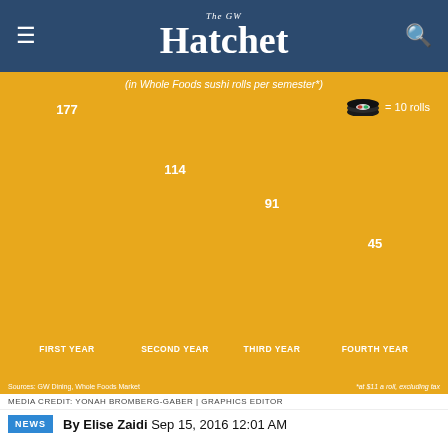The GW Hatchet
[Figure (bar-chart): (in Whole Foods sushi rolls per semester*)]
MEDIA CREDIT: YONAH BROMBERG-GABER | GRAPHICS EDITOR
By Elise Zaidi Sep 15, 2016 12:01 AM